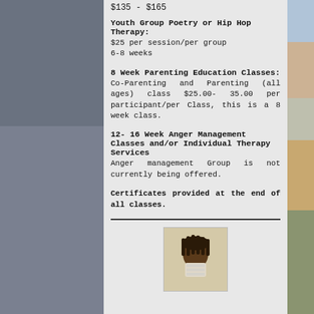$135 - $165
Youth Group Poetry or Hip Hop Therapy:
$25 per session/per group
6-8 weeks
8 Week Parenting Education Classes:
Co-Parenting and Parenting (all ages) class $25.00- 35.00 per participant/per Class, this is a 8 week class.
12- 16 Week Anger Management Classes and/or Individual Therapy Services
Anger management Group is not currently being offered.
Certificates provided at the end of all classes.
[Figure (photo): Headshot photo of a person at the bottom of the panel]